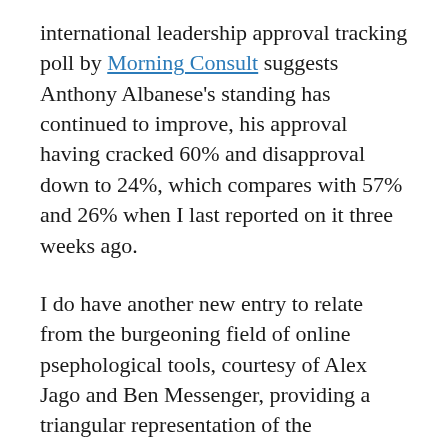international leadership approval tracking poll by Morning Consult suggests Anthony Albanese's standing has continued to improve, his approval having cracked 60% and disapproval down to 24%, which compares with 57% and 26% when I last reported on it three weeks ago.
I do have another new entry to relate from the burgeoning field of online psephological tools, courtesy of Alex Jago and Ben Messenger, providing a triangular representation of the increasingly common occurrence of three-cornered contests between Labor, the Coalition and the Greens. This can just as easily be adapted to any combination of three parties or